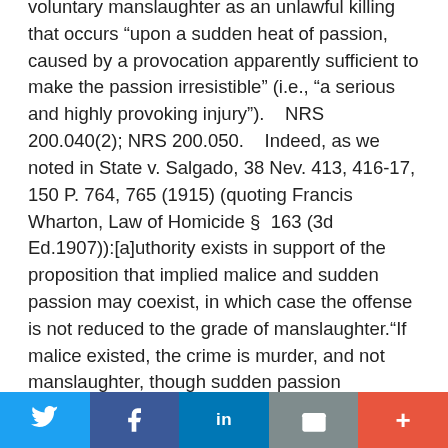voluntary manslaughter as an unlawful killing that occurs "upon a sudden heat of passion, caused by a provocation apparently sufficient to make the passion irresistible" (i.e., "a serious and highly provoking injury").    NRS 200.040(2); NRS 200.050.    Indeed, as we noted in State v. Salgado, 38 Nev. 413, 416-17, 150 P. 764, 765 (1915) (quoting Francis Wharton, Law of Homicide §  163 (3d Ed.1907)):[a]uthority exists in support of the proposition that implied malice and sudden passion may coexist, in which case the offense is not reduced to the grade of manslaughter."If malice existed, the crime is murder, and not manslaughter, though sudden passion coexisted and the homicide was the product of both. If the provocation is inconsiderable, the law implies malice, and the homicide is murder;  if it is great, malice will not be inferred, and it will be deemed to be manslaughter."See also State v. Fisko, 58 Nev. 65, 75, 70 P.2d 1113, 1116 (1937) ( "Neither slight provocation nor an
Twitter | Facebook | LinkedIn | Email | More